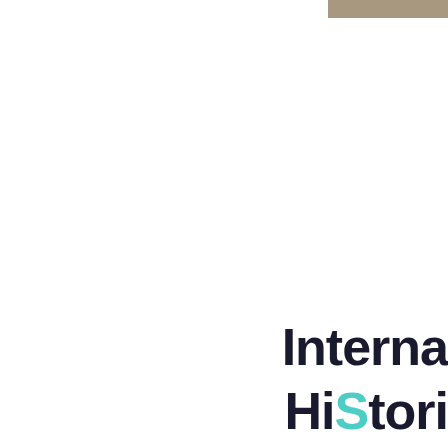[Figure (logo): Partial logo showing 'Interna' and 'HiStori' text in dark/teal colors, with a brown/tan bar element in the top right corner]
International HiStorical...